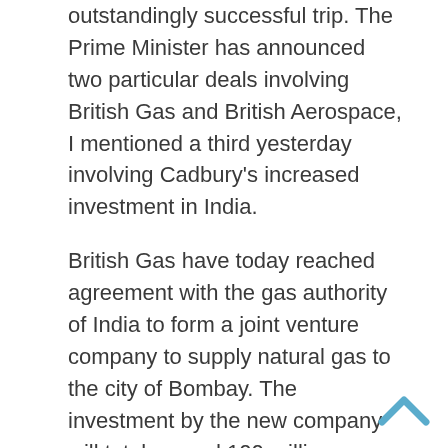outstandingly successful trip. The Prime Minister has announced two particular deals involving British Gas and British Aerospace, I mentioned a third yesterday involving Cadbury's increased investment in India.
British Gas have today reached agreement with the gas authority of India to form a joint venture company to supply natural gas to the city of Bombay. The investment by the new company will total around 100 million pounds but the significance of the agreement is broader since it puts British Gas in pole position in the development of natural gas in India which could lead to between 1.5 – 2 billion pounds worth of business in the longer term. And there will be many opportunities within those contracts for other British suppliers.